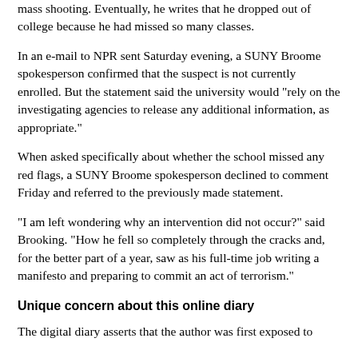mass shooting. Eventually, he writes that he dropped out of college because he had missed so many classes.
In an e-mail to NPR sent Saturday evening, a SUNY Broome spokesperson confirmed that the suspect is not currently enrolled. But the statement said the university would "rely on the investigating agencies to release any additional information, as appropriate."
When asked specifically about whether the school missed any red flags, a SUNY Broome spokesperson declined to comment Friday and referred to the previously made statement.
"I am left wondering why an intervention did not occur?" said Brooking. "How he fell so completely through the cracks and, for the better part of a year, saw as his full-time job writing a manifesto and preparing to commit an act of terrorism."
Unique concern about this online diary
The digital diary asserts that the author was first exposed to